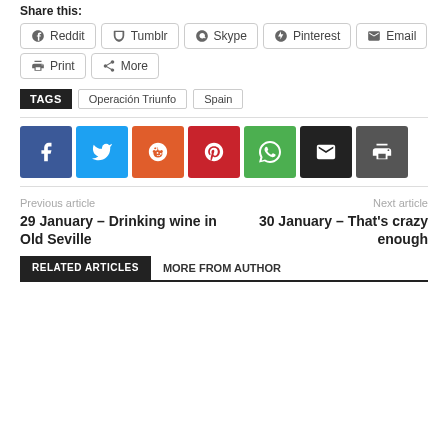Share this:
Reddit
Tumblr
Skype
Pinterest
Email
Print
More
TAGS  Operación Triunfo  Spain
[Figure (infographic): Social share icon buttons: Facebook (blue), Twitter (light blue), Reddit (orange), Pinterest (red), WhatsApp (green), Email (black), Print (dark grey)]
Previous article
29 January – Drinking wine in Old Seville
Next article
30 January – That's crazy enough
RELATED ARTICLES    MORE FROM AUTHOR